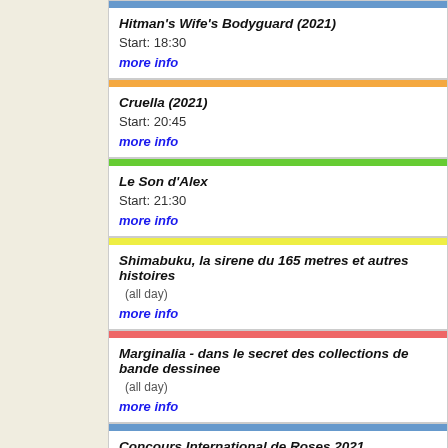Hitman's Wife's Bodyguard (2021)
Start: 18:30
more info
Cruella (2021)
Start: 20:45
more info
Le Son d'Alex
Start: 21:30
more info
Shimabuku, la sirene du 165 metres et autres histoires
(all day)
more info
Marginalia - dans le secret des collections de bande dessinee
(all day)
more info
Concours International de Roses 2021
(all day)